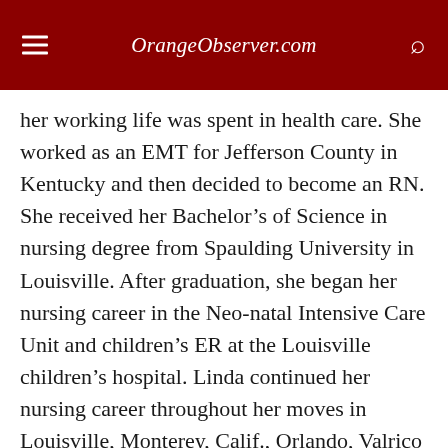OrangeObserver.com
her working life was spent in health care. She worked as an EMT for Jefferson County in Kentucky and then decided to become an RN. She received her Bachelor’s of Science in nursing degree from Spaulding University in Louisville. After graduation, she began her nursing career in the Neo-natal Intensive Care Unit and children’s ER at the Louisville children’s hospital. Linda continued her nursing career throughout her moves in Louisville, Monterey, Calif., Orlando, Valrico and finally Oviedo.
She also had a position as a student…